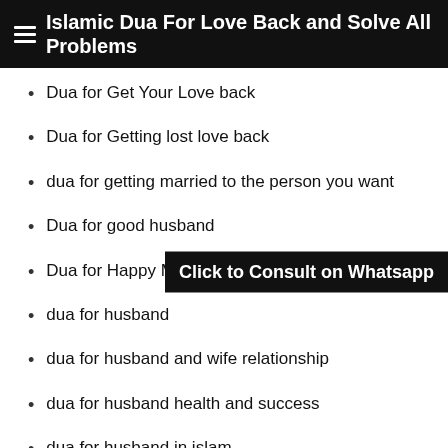Islamic Dua For Love Back and Solve All Problems
Dua for Get Your Love back
Dua for Getting lost love back
dua for getting married to the person you want
Dua for good husband
Dua for Happy Marriage
dua for husband
dua for husband and wife relationship
dua for husband health and success
dua for husband in islam
dua for husband love back